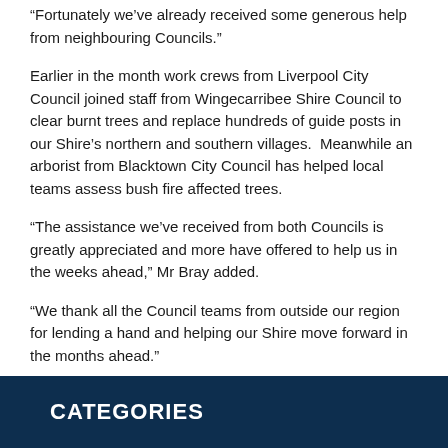“Fortunately we’ve already received some generous help from neighbouring Councils.”
Earlier in the month work crews from Liverpool City Council joined staff from Wingecarribee Shire Council to clear burnt trees and replace hundreds of guide posts in our Shire’s northern and southern villages.  Meanwhile an arborist from Blacktown City Council has helped local teams assess bush fire affected trees.
“The assistance we’ve received from both Councils is greatly appreciated and more have offered to help us in the weeks ahead,” Mr Bray added.
“We thank all the Council teams from outside our region for lending a hand and helping our Shire move forward in the months ahead.”
CATEGORIES